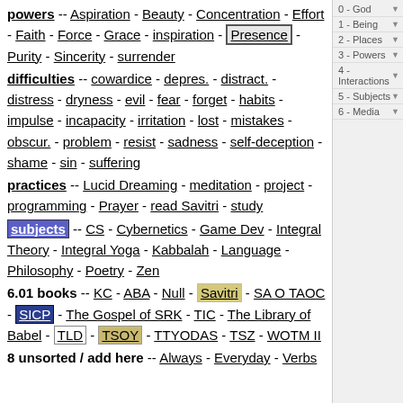powers -- Aspiration - Beauty - Concentration - Effort - Faith - Force - Grace - inspiration - Presence - Purity - Sincerity - surrender
difficulties -- cowardice - depres. - distract. - distress - dryness - evil - fear - forget - habits - impulse - incapacity - irritation - lost - mistakes - obscur. - problem - resist - sadness - self-deception - shame - sin - suffering
practices -- Lucid Dreaming - meditation - project - programming - Prayer - read Savitri - study
subjects -- CS - Cybernetics - Game Dev - Integral Theory - Integral Yoga - Kabbalah - Language - Philosophy - Poetry - Zen
6.01 books -- KC - ABA - Null - Savitri - SA O TAOC - SICP - The Gospel of SRK - TIC - The Library of Babel - TLD - TSOY - TTYODAS - TSZ - WOTM II
8 unsorted / add here -- Always - Everyday - Verbs